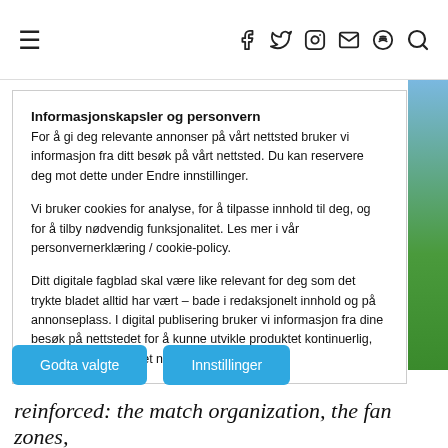≡  f  𝕏  📷  ✉  🎵  🔍
Informasjonskapsler og personvern
For å gi deg relevante annonser på vårt nettsted bruker vi informasjon fra ditt besøk på vårt nettsted. Du kan reservere deg mot dette under Endre innstillinger.
Vi bruker cookies for analyse, for å tilpasse innhold til deg, og for å tilby nødvendig funksjonalitet. Les mer i vår personvernerklæring / cookie-policy.
Ditt digitale fagblad skal være like relevant for deg som det trykte bladet alltid har vært – bade i redaksjonelt innhold og på annonseplass. I digital publisering bruker vi informasjon fra dine besøk på nettstedet for å kunne utvikle produktet kontinuerlig, slik at du opplever det nyttig og relevant.
Godta valgte
Innstillinger
reinforced: the match organization, the fan zones,